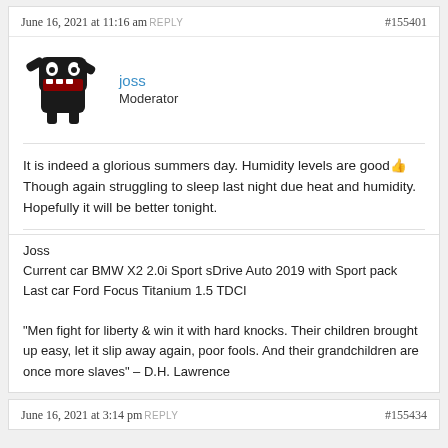June 16, 2021 at 11:16 am REPLY   #155401
[Figure (illustration): Domo-kun style black monster avatar with raised arms]
joss
Moderator
It is indeed a glorious summers day. Humidity levels are good👍 Though again struggling to sleep last night due heat and humidity. Hopefully it will be better tonight.
Joss
Current car BMW X2 2.0i Sport sDrive Auto 2019 with Sport pack
Last car Ford Focus Titanium 1.5 TDCI

"Men fight for liberty & win it with hard knocks. Their children brought up easy, let it slip away again, poor fools. And their grandchildren are once more slaves" – D.H. Lawrence
June 16, 2021 at 3:14 pm REPLY   #155434